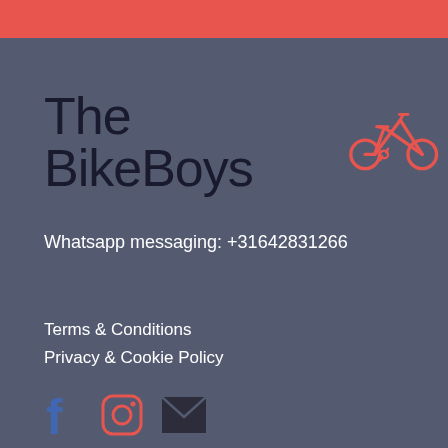[Figure (logo): The BikeBoys logo with bicycle icon in coral/orange color]
Whatsapp messaging: +31642831266
Terms & Conditions
Privacy & Cookie Policy
[Figure (infographic): Social media icons: Facebook (blue), Instagram (coral outline), Email (dark envelope)]